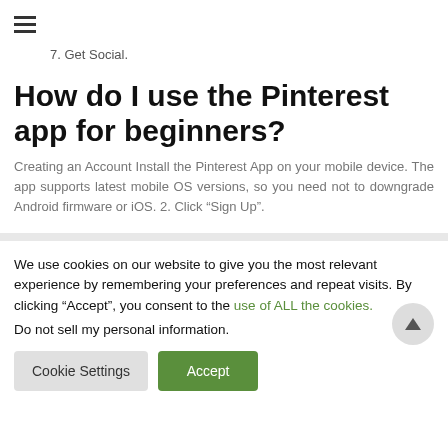7. Get Social.
How do I use the Pinterest app for beginners?
Creating an Account Install the Pinterest App on your mobile device. The app supports latest mobile OS versions, so you need not to downgrade Android firmware or iOS. 2. Click “Sign Up”.
We use cookies on our website to give you the most relevant experience by remembering your preferences and repeat visits. By clicking “Accept”, you consent to the use of ALL the cookies.
Do not sell my personal information.